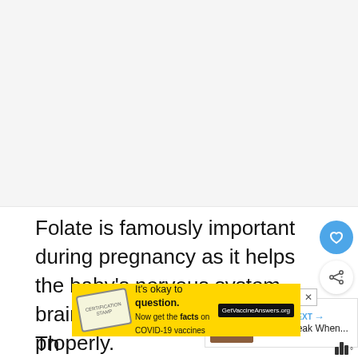[Figure (photo): Large image area at top of page, mostly white/light gray placeholder]
Folate is famously important during pregnancy as it helps the baby's nervous system, brain, and spinal cord deve properly.
[Figure (other): WHAT'S NEXT arrow label with thumbnail image of steak and text 'Eating Steak When...']
[Figure (other): Yellow advertisement banner: It's okay to question. Now get the facts on COVID-19 vaccines. GetVaccineAnswers.org]
Th